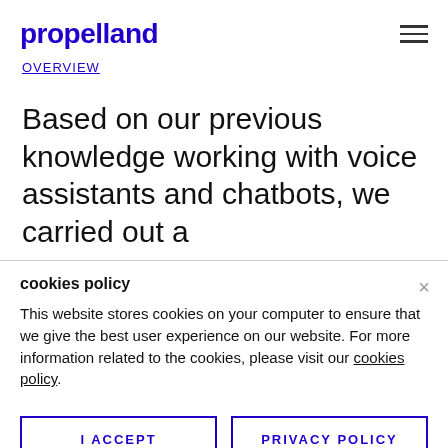propelland
OVERVIEW
Based on our previous knowledge working with voice assistants and chatbots, we carried out a
cookies policy
This website stores cookies on your computer to ensure that we give the best user experience on our website. For more information related to the cookies, please visit our cookies policy.
I ACCEPT
PRIVACY POLICY